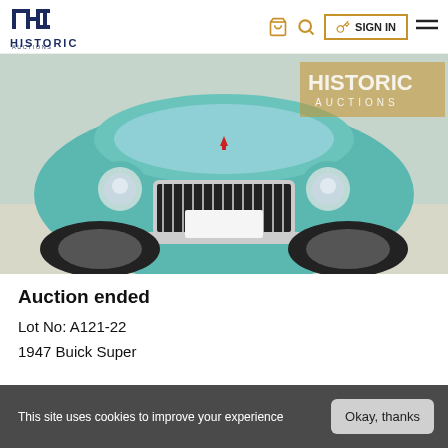HISTORIC AUCTIONS — SIGN IN
[Figure (photo): Front view of a 1947 Buick Super classic car in teal/turquoise color, displayed in a garage/showroom setting. The Historic Auctions watermark is visible on the upper right of the photo.]
Auction ended
Lot No: A121-22
1947 Buick Super
This site uses cookies to improve your experience